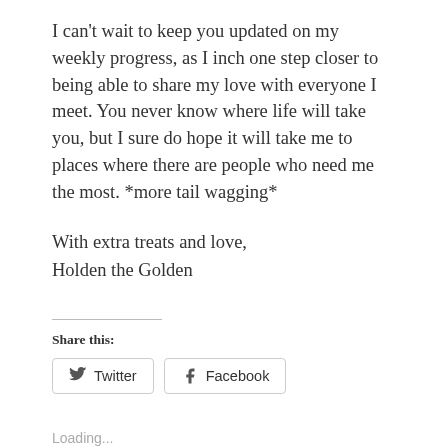I can't wait to keep you updated on my weekly progress, as I inch one step closer to being able to share my love with everyone I meet. You never know where life will take you, but I sure do hope it will take me to places where there are people who need me the most. *more tail wagging*
With extra treats and love,
Holden the Golden
Share this:
[Figure (screenshot): Twitter and Facebook share buttons]
Loading...